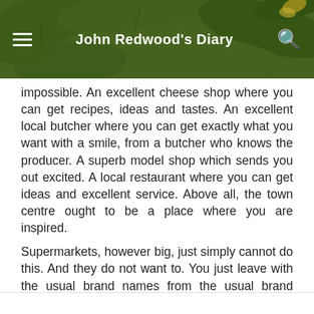John Redwood's Diary
impossible. An excellent cheese shop where you can get recipes, ideas and tastes. An excellent local butcher where you can get exactly what you want with a smile, from a butcher who knows the producer. A superb model shop which sends you out excited. A local restaurant where you can get ideas and excellent service. Above all, the town centre ought to be a place where you are inspired.
Supermarkets, however big, just simply cannot do this. And they do not want to. You just leave with the usual brand names from the usual brand names.
At the moment all the “education” is down to the ladies of a certain age in the local Tech. And they are not inspiring, however dutiful they appear on paper.